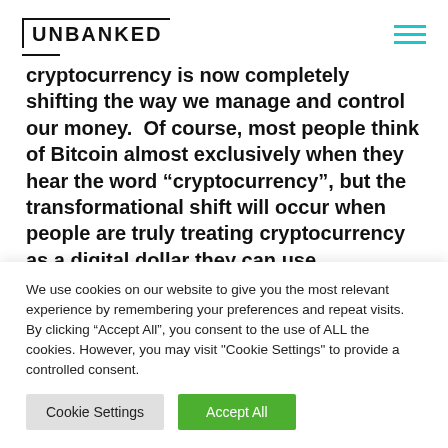UNBANKED
cryptocurrency is now completely shifting the way we manage and control our money.  Of course, most people think of Bitcoin almost exclusively when they hear the word “cryptocurrency”, but the transformational shift will occur when people are truly treating cryptocurrency as a digital dollar they can use to buy, spend and transfer funds
We use cookies on our website to give you the most relevant experience by remembering your preferences and repeat visits. By clicking “Accept All”, you consent to the use of ALL the cookies. However, you may visit "Cookie Settings" to provide a controlled consent.